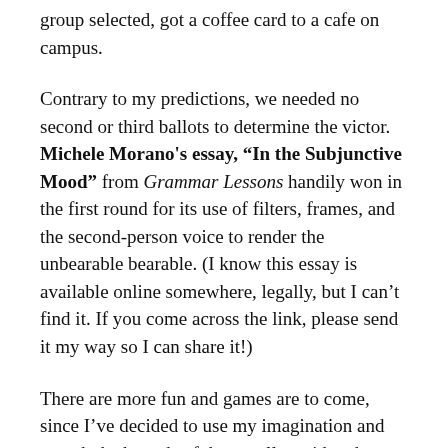group selected, got a coffee card to a cafe on campus.
Contrary to my predictions, we needed no second or third ballots to determine the victor. Michele Morano's essay, “In the Subjunctive Mood” from Grammar Lessons handily won in the first round for its use of filters, frames, and the second-person voice to render the unbearable bearable. (I know this essay is available online somewhere, legally, but I can’t find it. If you come across the link, please send it my way so I can share it!)
There are more fun and games are to come, since I’ve decided to use my imagination and stretch the bounds of the usually staid and serious format that is the writing workshop. I’ll try to share more reports from the seminar room as we progress.
If you’re also leading CNF workshops and want to share some ideas, do chime in and let me know